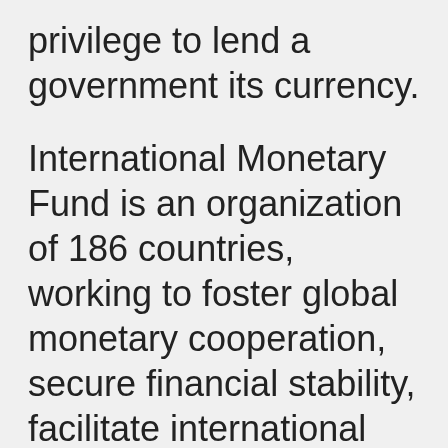privilege to lend a government its currency.
International Monetary Fund is an organization of 186 countries, working to foster global monetary cooperation, secure financial stability, facilitate international trade, promote high employment and sustainable economic growth, and reduce poverty around the world. IMF is the international organization that oversees the